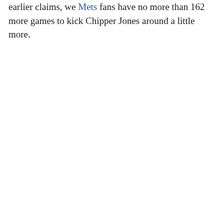earlier claims, we Mets fans have no more than 162 more games to kick Chipper Jones around a little more.